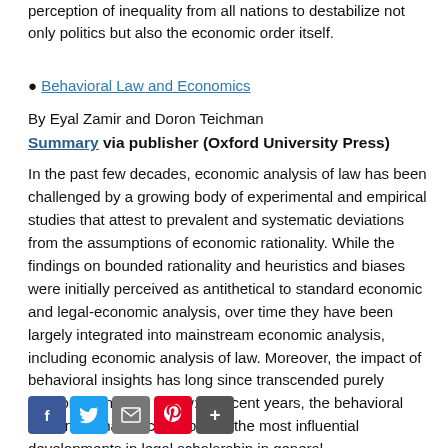perception of inequality from all nations to destabilize not only politics but also the economic order itself.
● Behavioral Law and Economics
By Eyal Zamir and Doron Teichman
Summary via publisher (Oxford University Press)
In the past few decades, economic analysis of law has been challenged by a growing body of experimental and empirical studies that attest to prevalent and systematic deviations from the assumptions of economic rationality. While the findings on bounded rationality and heuristics and biases were initially perceived as antithetical to standard economic and legal-economic analysis, over time they have been largely integrated into mainstream economic analysis, including economic analysis of law. Moreover, the impact of behavioral insights has long since transcended purely economic analysis of law: in recent years, the behavioral movement has become one of the most influential developments in legal scholarship in general.
Social sharing buttons: Facebook, Twitter, Email, Pinterest, More